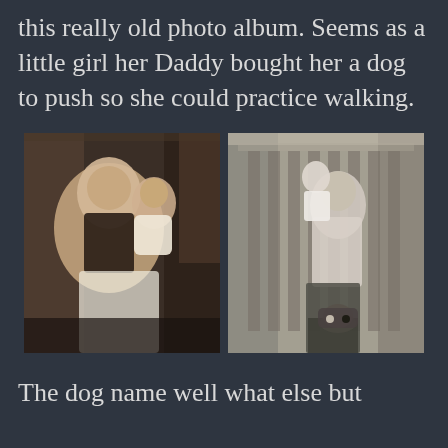this really old photo album. Seems as a little girl her Daddy bought her a dog to push so she could practice walking.
[Figure (photo): Two old black and white photographs side by side. Left photo shows an older woman holding a young toddler in a white dress outdoors. Right photo shows a woman holding a baby/toddler while standing in front of a brick wall, with a small toy dog on the ground.]
The dog name well what else but